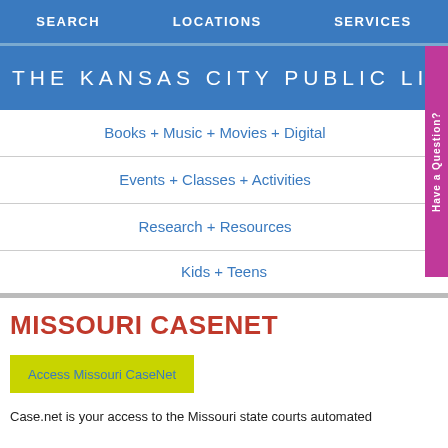SEARCH   LOCATIONS   SERVICES
THE KANSAS CITY PUBLIC LIBRARY
Books + Music + Movies + Digital
Events + Classes + Activities
Research + Resources
Kids + Teens
MISSOURI CASENET
Access Missouri CaseNet
Case.net is your access to the Missouri state courts automated